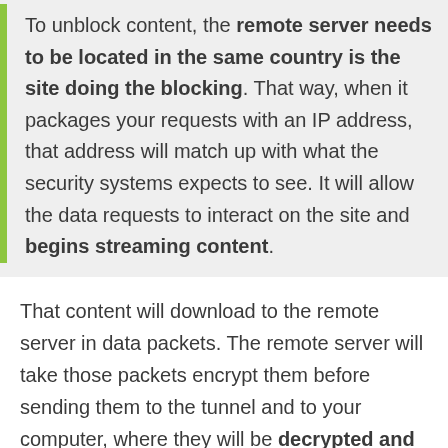To unblock content, the remote server needs to be located in the same country is the site doing the blocking. That way, when it packages your requests with an IP address, that address will match up with what the security systems expects to see. It will allow the data requests to interact on the site and begins streaming content.
That content will download to the remote server in data packets. The remote server will take those packets encrypt them before sending them to the tunnel and to your computer, where they will be decrypted and made available for viewing.
Step-by-Step Guide to Streaming